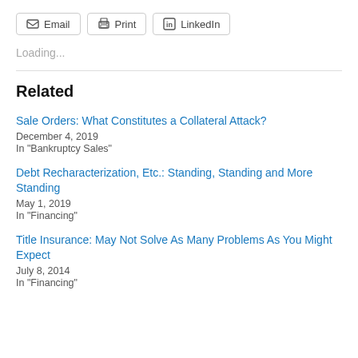[Figure (screenshot): Row of three buttons: Email (envelope icon), Print (printer icon), LinkedIn (LinkedIn icon)]
Loading...
Related
Sale Orders: What Constitutes a Collateral Attack?
December 4, 2019
In "Bankruptcy Sales"
Debt Recharacterization, Etc.: Standing, Standing and More Standing
May 1, 2019
In "Financing"
Title Insurance: May Not Solve As Many Problems As You Might Expect
July 8, 2014
In "Financing"